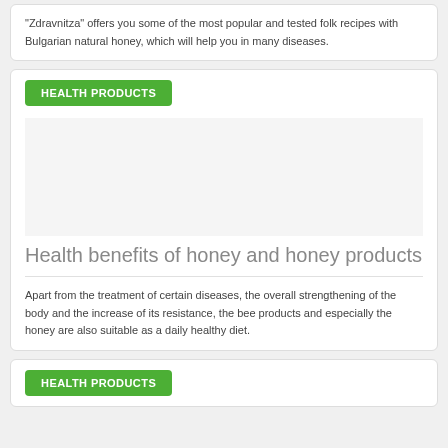"Zdravnitza" offers you some of the most popular and tested folk recipes with Bulgarian natural honey, which will help you in many diseases.
HEALTH PRODUCTS
Health benefits of honey and honey products
Apart from the treatment of certain diseases, the overall strengthening of the body and the increase of its resistance, the bee products and especially the honey are also suitable as a daily healthy diet.
HEALTH PRODUCTS